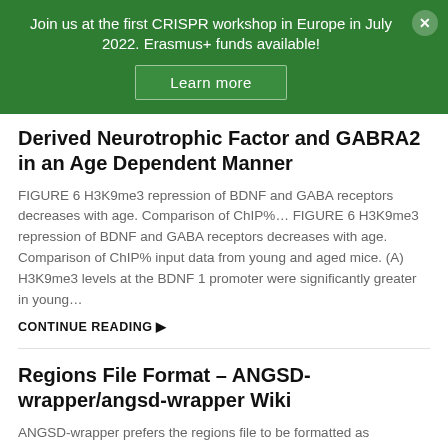Join us at the first CRISPR workshop in Europe in July 2022. Erasmus+ funds available!
Derived Neurotrophic Factor and GABRA2 in an Age Dependent Manner
FIGURE 6 H3K9me3 repression of BDNF and GABA receptors decreases with age. Comparison of ChIP%... FIGURE 6 H3K9me3 repression of BDNF and GABA receptors decreases with age. Comparison of ChIP% input data from young and aged mice. (A) H3K9me3 levels at the BDNF 1 promoter were significantly greater in young...
CONTINUE READING ▶
Regions File Format – ANGSD-wrapper/angsd-wrapper Wiki
ANGSD-wrapper prefers the regions file to be formatted as chr_name:start_position-end_position. Below, we will create a file as an example and show how we can go from BED file format to